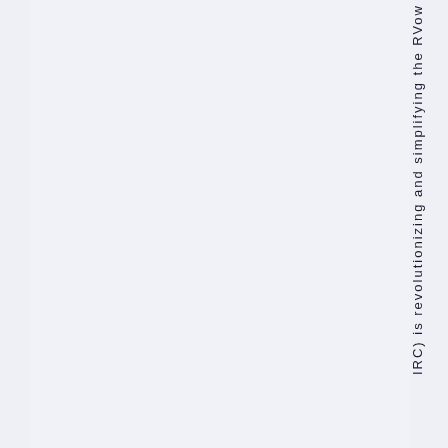IRC) is revolutionizing and simplifying the RVow